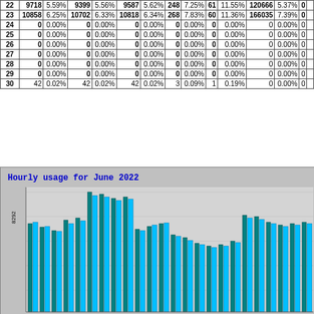| # | Count | Pct | Count | Pct | Count | Pct | Count | Pct | Count | Pct | Count | Pct |  |
| --- | --- | --- | --- | --- | --- | --- | --- | --- | --- | --- | --- | --- | --- |
| 22 | 9718 | 5.59% | 9399 | 5.56% | 9587 | 5.62% | 248 | 7.25% | 61 | 11.55% | 120666 | 5.37% | 0 |  |
| 23 | 10858 | 6.25% | 10702 | 6.33% | 10818 | 6.34% | 268 | 7.83% | 60 | 11.36% | 166035 | 7.39% | 0 |  |
| 24 | 0 | 0.00% | 0 | 0.00% | 0 | 0.00% | 0 | 0.00% | 0 | 0.00% | 0 | 0.00% | 0 |  |
| 25 | 0 | 0.00% | 0 | 0.00% | 0 | 0.00% | 0 | 0.00% | 0 | 0.00% | 0 | 0.00% | 0 |  |
| 26 | 0 | 0.00% | 0 | 0.00% | 0 | 0.00% | 0 | 0.00% | 0 | 0.00% | 0 | 0.00% | 0 |  |
| 27 | 0 | 0.00% | 0 | 0.00% | 0 | 0.00% | 0 | 0.00% | 0 | 0.00% | 0 | 0.00% | 0 |  |
| 28 | 0 | 0.00% | 0 | 0.00% | 0 | 0.00% | 0 | 0.00% | 0 | 0.00% | 0 | 0.00% | 0 |  |
| 29 | 0 | 0.00% | 0 | 0.00% | 0 | 0.00% | 0 | 0.00% | 0 | 0.00% | 0 | 0.00% | 0 |  |
| 30 | 42 | 0.02% | 42 | 0.02% | 42 | 0.02% | 3 | 0.09% | 1 | 0.19% | 0 | 0.00% | 0 |  |
[Figure (bar-chart): Grouped bar chart showing hourly usage for June 2022, with teal/dark green and light blue bars for each hour, y-axis max approximately 8292.]